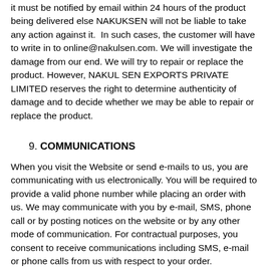it must be notified by email within 24 hours of the product being delivered else NAKUKSEN will not be liable to take any action against it.  In such cases, the customer will have to write in to online@nakulsen.com. We will investigate the damage from our end. We will try to repair or replace the product. However, NAKUL SEN EXPORTS PRIVATE LIMITED reserves the right to determine authenticity of damage and to decide whether we may be able to repair or replace the product.
9. COMMUNICATIONS
When you visit the Website or send e-mails to us, you are communicating with us electronically. You will be required to provide a valid phone number while placing an order with us. We may communicate with you by e-mail, SMS, phone call or by posting notices on the website or by any other mode of communication. For contractual purposes, you consent to receive communications including SMS, e-mail or phone calls from us with respect to your order.